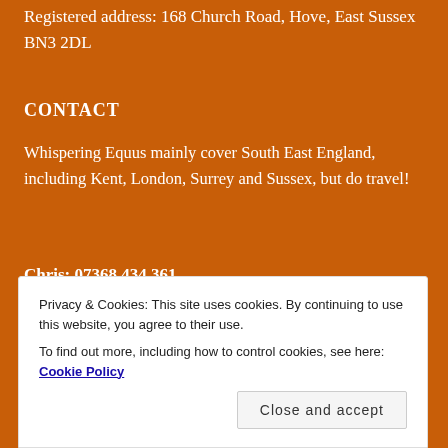Registered address: 168 Church Road, Hove, East Sussex BN3 2DL
CONTACT
Whispering Equus mainly cover South East England, including Kent, London, Surrey and Sussex, but do travel!
Chris: 07368 434 361
Email Whispering Equus
Privacy & Cookies: This site uses cookies. By continuing to use this website, you agree to their use. To find out more, including how to control cookies, see here: Cookie Policy
Close and accept